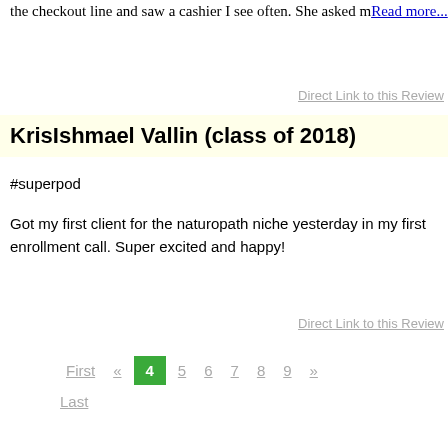the checkout line and saw a cashier I see often. She asked mRead more...
Direct Link to this Review
KrisIshmael Vallin (class of 2018)
#superpod
Got my first client for the naturopath niche yesterday in my first enrollment call. Super excited and happy!
Direct Link to this Review
First « 4 5 6 7 8 9 » Last